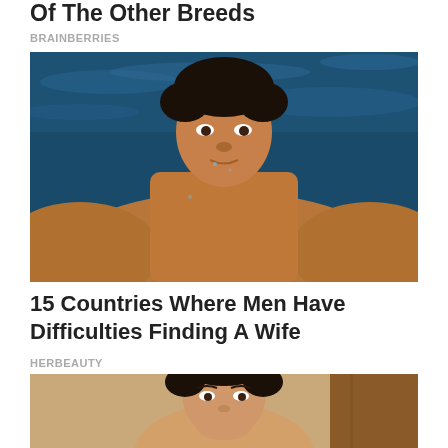Of The Other Breeds
BRAINBERRIES
[Figure (photo): Shirtless athletic man with dark hair, leaning on poolside edge, wet from swimming, blue water in background]
15 Countries Where Men Have Difficulties Finding A Wife
HERBEAUTY
[Figure (photo): Woman with dark hair pulled back, neutral background, partial view of wooden surface]